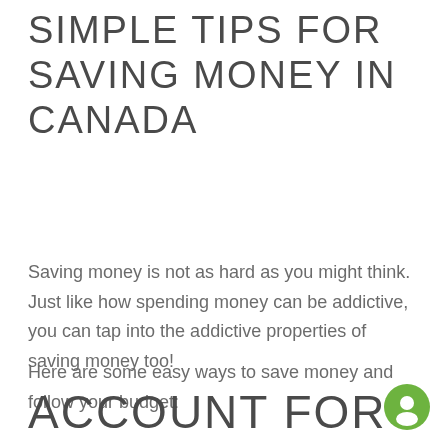SIMPLE TIPS FOR SAVING MONEY IN CANADA
Saving money is not as hard as you might think. Just like how spending money can be addictive, you can tap into the addictive properties of saving money too!
Here are some easy ways to save money and follow your budget:
ACCOUNT FOR